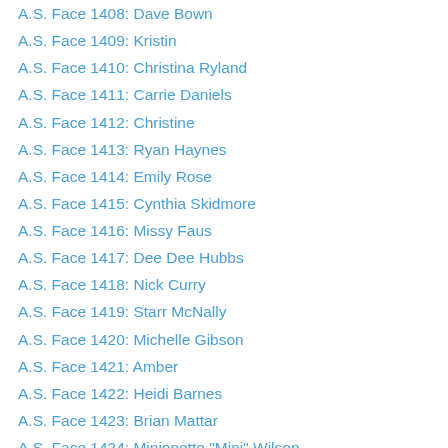A.S. Face 1408: Dave Bown
A.S. Face 1409: Kristin
A.S. Face 1410: Christina Ryland
A.S. Face 1411: Carrie Daniels
A.S. Face 1412: Christine
A.S. Face 1413: Ryan Haynes
A.S. Face 1414: Emily Rose
A.S. Face 1415: Cynthia Skidmore
A.S. Face 1416: Missy Faus
A.S. Face 1417: Dee Dee Hubbs
A.S. Face 1418: Nick Curry
A.S. Face 1419: Starr McNally
A.S. Face 1420: Michelle Gibson
A.S. Face 1421: Amber
A.S. Face 1422: Heidi Barnes
A.S. Face 1423: Brian Mattar
A.S. Face 1424: Minionette "Mini" Wilson
A.S. Face 1425: Becca
A.S. Face 1426: Karla
A.S. Face 1427: Orla Mulqueen